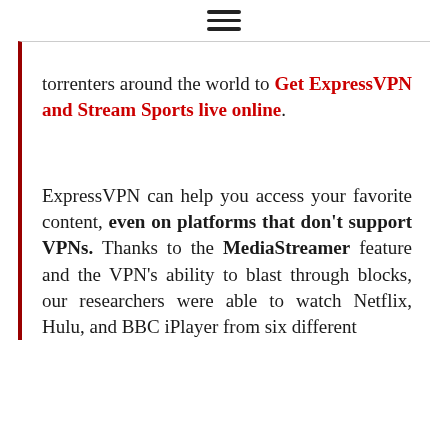≡
torrenters around the world to Get ExpressVPN and Stream Sports live online. ExpressVPN can help you access your favorite content, even on platforms that don't support VPNs. Thanks to the MediaStreamer feature and the VPN's ability to blast through blocks, our researchers were able to watch Netflix, Hulu, and BBC iPlayer from six different